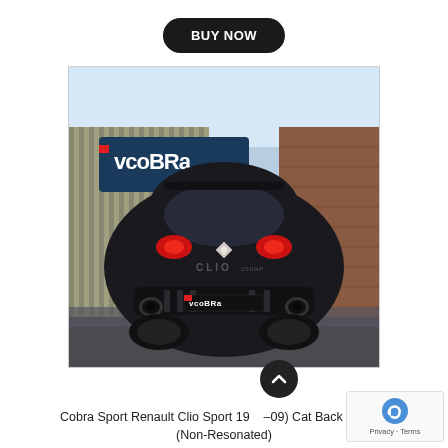BUY NOW
[Figure (photo): Rear view of a black Renault Clio with Cobra Sport exhaust system fitted, parked outside a building with a Cobra Sport sign/billboard visible in the background.]
Cobra Sport Renault Clio Sport 1998–09) Cat Back System (Non-Resonated)